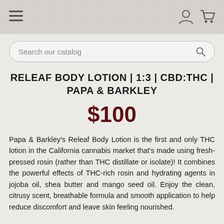Navigation header with hamburger menu, user icon, and cart icon
Search our catalog
RELEAF BODY LOTION | 1:3 | CBD:THC | PAPA & BARKLEY
$100
Papa & Barkley's Releaf Body Lotion is the first and only THC lotion in the California cannabis market that's made using fresh-pressed rosin (rather than THC distillate or isolate)! It combines the powerful effects of THC-rich rosin and hydrating agents in jojoba oil, shea butter and mango seed oil. Enjoy the clean, citrusy scent, breathable formula and smooth application to help reduce discomfort and leave skin feeling nourished.